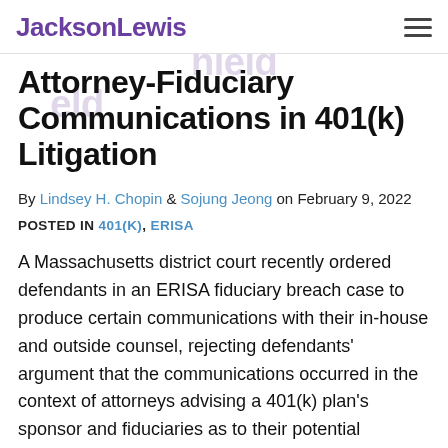JacksonLewis
Attorney-Fiduciary Communications in 401(k) Litigation
By Lindsey H. Chopin & Sojung Jeong on February 9, 2022
POSTED IN 401(K), ERISA
A Massachusetts district court recently ordered defendants in an ERISA fiduciary breach case to produce certain communications with their in-house and outside counsel, rejecting defendants' argument that the communications occurred in the context of attorneys advising a 401(k) plan's sponsor and fiduciaries as to their potential fiduciary liability. In re